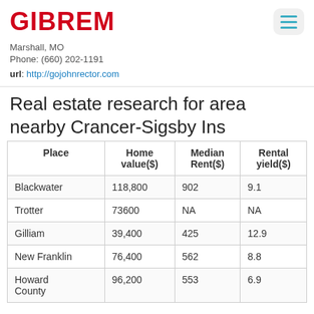GIBREM
Marshall, MO
Phone: (660) 202-1191
url: http://gojohnrector.com
Real estate research for area nearby Crancer-Sigsby Ins
| Place | Home value($) | Median Rent($) | Rental yield($) |
| --- | --- | --- | --- |
| Blackwater | 118,800 | 902 | 9.1 |
| Trotter | 73600 | NA | NA |
| Gilliam | 39,400 | 425 | 12.9 |
| New Franklin | 76,400 | 562 | 8.8 |
| Howard County | 96,200 | 553 | 6.9 |